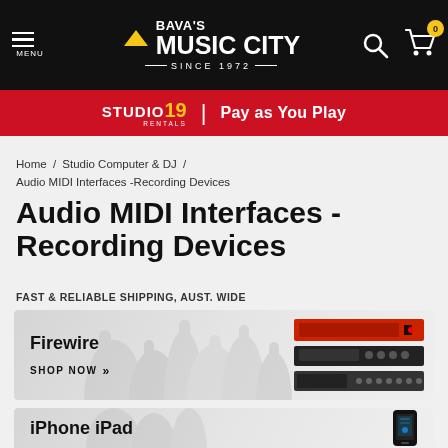[Figure (screenshot): Bava's Music City website header with black background, logo, menu icon, search icon, and cart icon with 0 badge]
[Figure (screenshot): Red promotional banner with Studio19 Rentals logo and 'Pay as You Play' text]
Home / Studio Computer & DJ / Audio MIDI Interfaces -Recording Devices
Audio MIDI Interfaces - Recording Devices
FAST & RELIABLE SHIPPING, AUST. WIDE
[Figure (screenshot): Firewire category card with product image of audio interfaces and SHOP NOW link]
[Figure (screenshot): iPhone iPad category card partially visible at bottom]